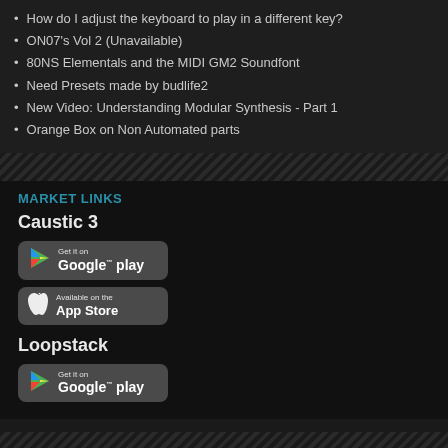How do I adjust the keyboard to play in a different key?
ON07's Vol 2 (Unavailable)
80NS Elementals and the MIDI GM2 Soundfont
Need Presets made by budlife2
New Video: Understanding Modular Synthesis - Part 1
Orange Box on Non Automated parts
MARKET LINKS
Caustic 3
[Figure (logo): Get it on Google play button]
[Figure (logo): Available on the App Store button]
Loopstack
[Figure (logo): Get it on Google play button]